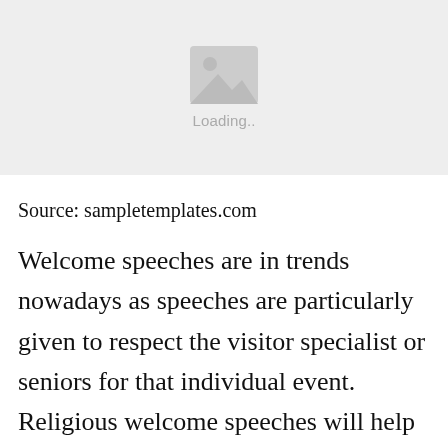[Figure (other): Image loading placeholder with mountain/landscape icon and 'Loading..' text on a light grey background]
Source: sampletemplates.com
Welcome speeches are in trends nowadays as speeches are particularly given to respect the visitor specialist or seniors for that individual event. Religious welcome speeches will help you to find the right welcoming words of wisdom. Emcee script